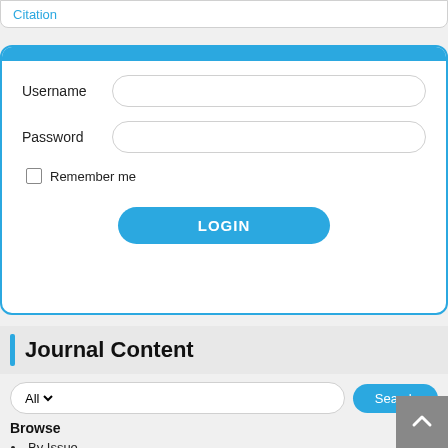Citation
Username
Password
Remember me
LOGIN
Journal Content
Browse
By Issue
By Title
By Author
Other Journals